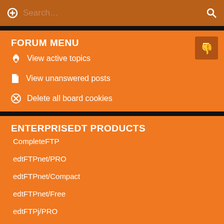Search…
FORUM MENU
View active topics
View unanswered posts
Delete all board cookies
ENTERPRISEDT PRODUCTS
CompleteFTP
edtFTPnet/PRO
edtFTPnet/Compact
edtFTPnet/Free
edtFTPj/PRO